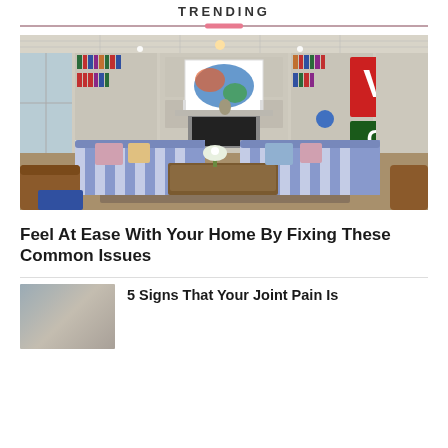TRENDING
[Figure (photo): Interior living room photo with bookshelves, fireplace, striped sofas, coffee table, and colorful artwork]
Feel At Ease With Your Home By Fixing These Common Issues
[Figure (photo): Thumbnail image for secondary article]
5 Signs That Your Joint Pain Is